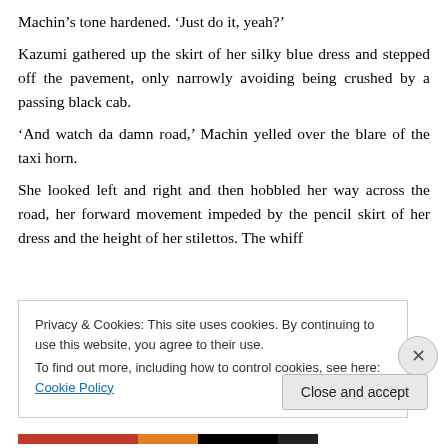Machin's tone hardened. ‘Just do it, yeah?’
Kazumi gathered up the skirt of her silky blue dress and stepped off the pavement, only narrowly avoiding being crushed by a passing black cab.
‘And watch da damn road,’ Machin yelled over the blare of the taxi horn.
She looked left and right and then hobbled her way across the road, her forward movement impeded by the pencil skirt of her dress and the height of her stilettos. The whiff
Privacy & Cookies: This site uses cookies. By continuing to use this website, you agree to their use.
To find out more, including how to control cookies, see here: Cookie Policy
Close and accept